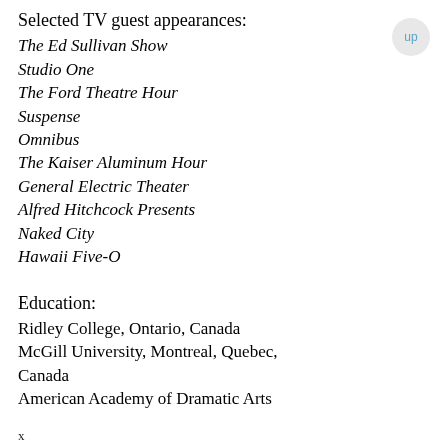Selected TV guest appearances:
The Ed Sullivan Show
Studio One
The Ford Theatre Hour
Suspense
Omnibus
The Kaiser Aluminum Hour
General Electric Theater
Alfred Hitchcock Presents
Naked City
Hawaii Five-O
Education:
Ridley College, Ontario, Canada
McGill University, Montreal, Quebec, Canada
American Academy of Dramatic Arts